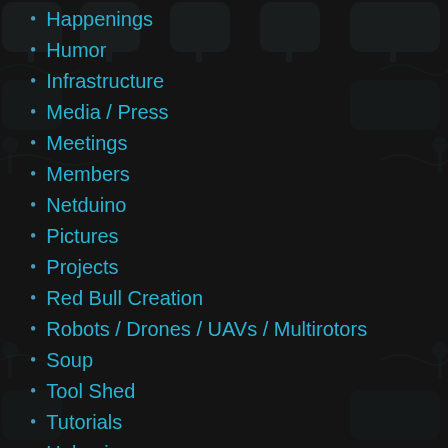Happenings
Humor
Infrastructure
Media / Press
Meetings
Members
Netduino
Pictures
Projects
Red Bull Creation
Robots / Drones / UAVs / Multirotors
Soup
Tool Shed
Tutorials
Unboxing
Uncategorized
Videos
Woodworking